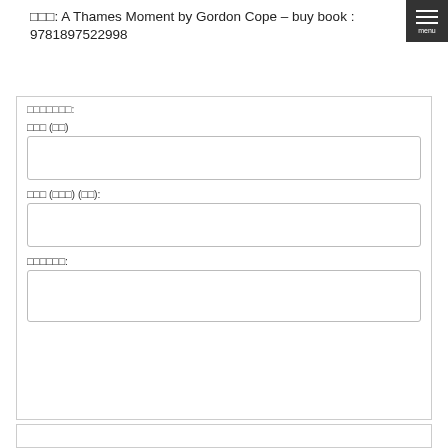□□□: A Thames Moment by Gordon Cope – buy book : 9781897522998
□□□□□□□:
□□□ (□□)
□□□ (□□□) (□□):
□□□□□□: